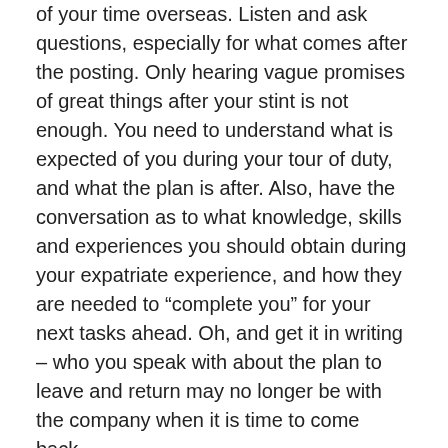of your time overseas. Listen and ask questions, especially for what comes after the posting. Only hearing vague promises of great things after your stint is not enough. You need to understand what is expected of you during your tour of duty, and what the plan is after. Also, have the conversation as to what knowledge, skills and experiences you should obtain during your expatriate experience, and how they are needed to “complete you” for your next tasks ahead. Oh, and get it in writing – who you speak with about the plan to leave and return may no longer be with the company when it is time to come back.
Stay close – In Guide to CFO Success, I discuss the importance of relationships to your success with